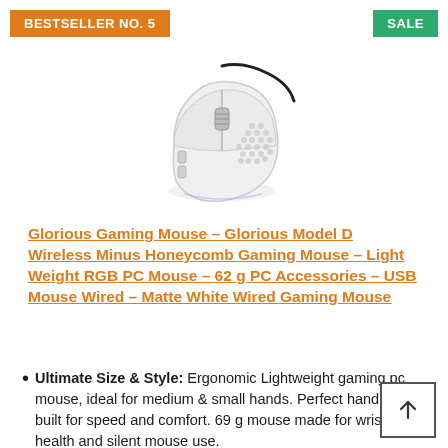BESTSELLER NO. 5
SALE
[Figure (photo): White honeycomb-design gaming mouse with black cable, matte white finish with dot perforations on top and sides, small scroll wheel visible]
Glorious Gaming Mouse – Glorious Model D Wireless Minus Honeycomb Gaming Mouse – Light Weight RGB PC Mouse – 62 g PC Accessories – USB Mouse Wired – Matte White Wired Gaming Mouse
Ultimate Size & Style: Ergonomic Lightweight gaming pc mouse, ideal for medium & small hands. Perfect hand grip built for speed and comfort. 69 g mouse made for wrist health and silent mouse use. Flexible Cable. Mouse Purpose designed for